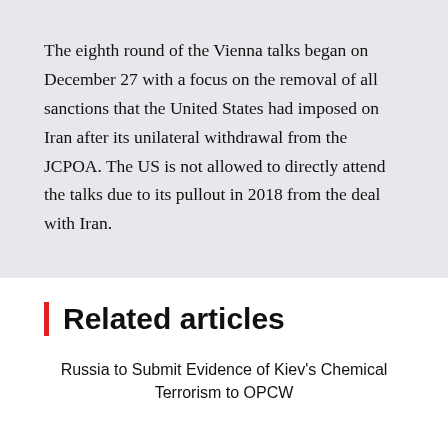The eighth round of the Vienna talks began on December 27 with a focus on the removal of all sanctions that the United States had imposed on Iran after its unilateral withdrawal from the JCPOA. The US is not allowed to directly attend the talks due to its pullout in 2018 from the deal with Iran.
Related articles
Russia to Submit Evidence of Kiev's Chemical Terrorism to OPCW